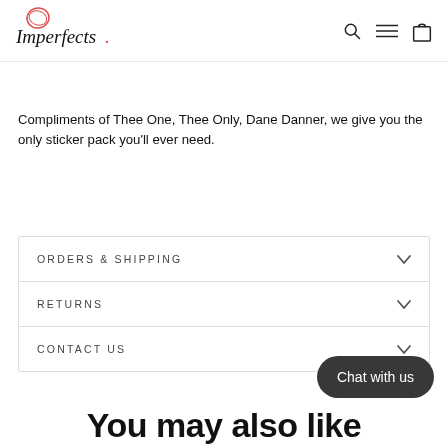Imperfects. [logo with navigation icons: search, menu, cart]
Compliments of Thee One, Thee Only, Dane Danner, we give you the only sticker pack you'll ever need.
ORDERS & SHIPPING
RETURNS
CONTACT US
Chat with us
You may also like